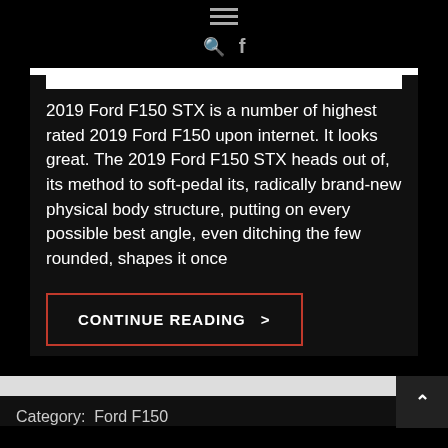≡  🔍 f
[Figure (screenshot): White horizontal bar image area at top of article card]
2019 Ford F150 STX is a number of highest rated 2019 Ford F150 upon internet. It looks great. The 2019 Ford F150 STX heads out of, its method to soft-pedal its, radically brand-new physical body structure, putting on every possible best angle, even ditching the few rounded, shapes it once
CONTINUE READING >
Category:  Ford F150